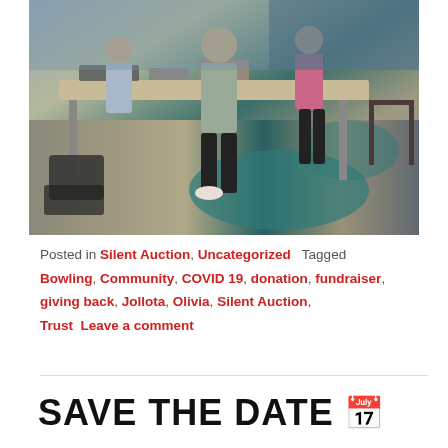[Figure (photo): People standing at a table in a room with patterned carpet, appearing to be at a silent auction or fundraiser event. Items are laid out on the table.]
Posted in Silent Auction, Uncategorized   Tagged Bowling, Community, COVID 19, donation, fundraiser, giving back, Jollota, Olivia, Silent Auction, Trust   Leave a comment
SAVE THE DATE 📅